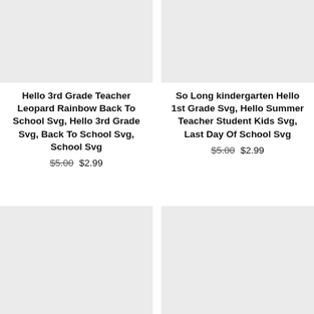[Figure (illustration): Product image placeholder (light gray rectangle) for Hello 3rd Grade Teacher Leopard Rainbow Back To School Svg]
Hello 3rd Grade Teacher Leopard Rainbow Back To School Svg, Hello 3rd Grade Svg, Back To School Svg, School Svg
$5.00 $2.99
[Figure (illustration): Product image placeholder (light gray rectangle) for So Long kindergarten Hello 1st Grade Svg]
So Long kindergarten Hello 1st Grade Svg, Hello Summer Teacher Student Kids Svg, Last Day Of School Svg
$5.00 $2.99
[Figure (illustration): Product image placeholder (light gray rectangle) bottom left]
[Figure (illustration): Product image placeholder (light gray rectangle) bottom right]